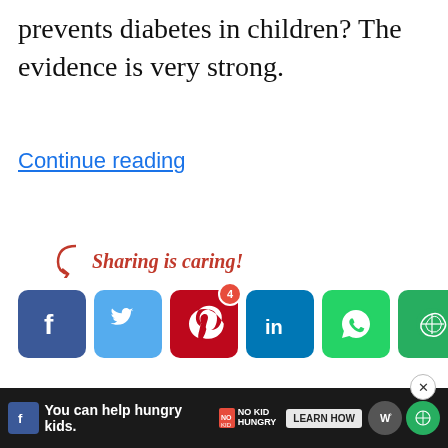prevents diabetes in children? The evidence is very strong.
Continue reading
[Figure (infographic): Sharing is caring! social media share buttons for Facebook, Twitter, Pinterest (with badge 4), LinkedIn, WhatsApp, and More options]
2019-12-04
Dr. Jim Meehan anti-vaccine rant
[Figure (infographic): Advertisement bar at bottom: You can help hungry kids. No Kid Hungry. Learn How button. Close button.]